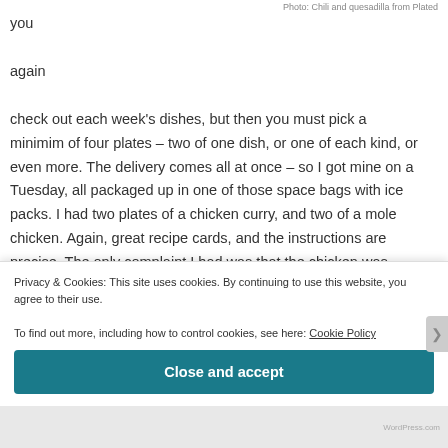Photo: Chili and quesadilla from Plated
you

again

check out each week's dishes, but then you must pick a minimim of four plates – two of one dish, or one of each kind, or even more. The delivery comes all at once – so I got mine on a Tuesday, all packaged up in one of those space bags with ice packs. I had two plates of a chicken curry, and two of a mole chicken. Again, great recipe cards, and the instructions are precise. The only complaint I had was that the chicken was bone in, so it
Privacy & Cookies: This site uses cookies. By continuing to use this website, you agree to their use.
To find out more, including how to control cookies, see here: Cookie Policy
Close and accept